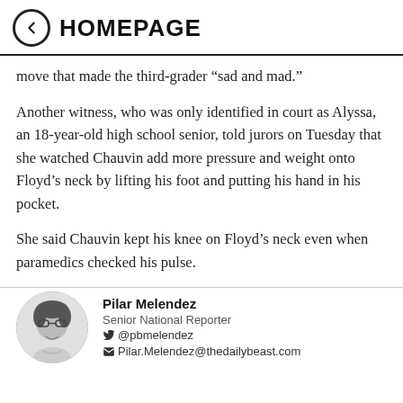HOMEPAGE
move that made the third-grader “sad and mad.”
Another witness, who was only identified in court as Alyssa, an 18-year-old high school senior, told jurors on Tuesday that she watched Chauvin add more pressure and weight onto Floyd’s neck by lifting his foot and putting his hand in his pocket.
She said Chauvin kept his knee on Floyd’s neck even when paramedics checked his pulse.
Pilar Melendez
Senior National Reporter
@pbmelendez
Pilar.Melendez@thedailybeast.com